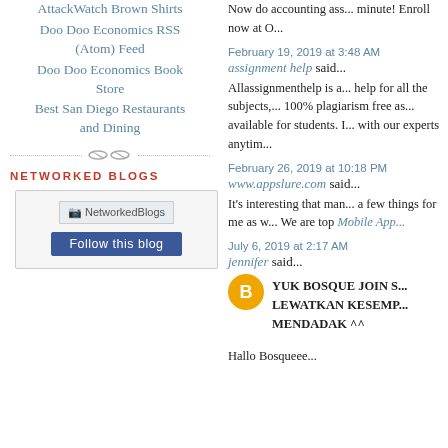AttackWatch Brown Shirts
Doo Doo Economics RSS (Atom) Feed
Doo Doo Economics Book Store
Best San Diego Restaurants and Dining
NETWORKED BLOGS
[Figure (other): NetworkedBlogs widget with logo placeholder and Follow this blog button]
Now do accounting ass... minute! Enroll now at O...
February 19, 2019 at 3:48 AM
assignment help said...
Allassignmenthelp is a... help for all the subjects,... 100% plagiarism free as... available for students. I... with our experts anytim...
February 26, 2019 at 10:18 PM
www.appslure.com said...
It's interesting that man... a few things for me as w... We are top Mobile App...
July 6, 2019 at 2:17 AM
jennifer said...
YUK BOSQUE JOIN S... LEWATKAN KESEMP... MENDADAK ^^
Hallo Bosqueee...